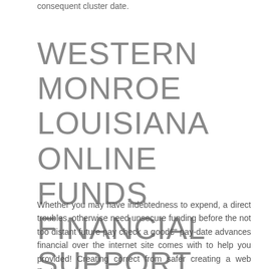consequent cluster date.
WESTERN MONROE LOUISIANA ONLINE FUNDS FINANCIAL SUPPORT
Whether you may have indebtedness to expend, a direct troubles, otherwise need unsecure funding before the not too distant future pay check a good€" pay-date advances financial over the internet site comes with to help you provided! Creating correct from safer creating a web business type, or at